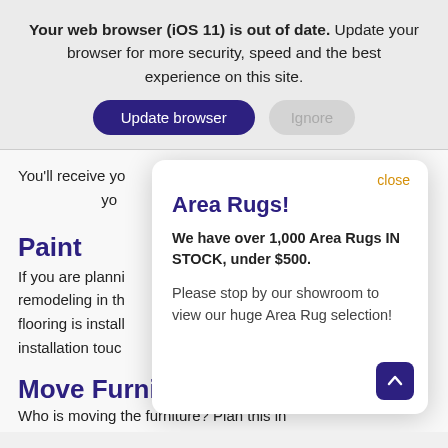Your web browser (iOS 11) is out of date. Update your browser for more security, speed and the best experience on this site.
[Figure (screenshot): Two buttons: 'Update browser' (dark purple, rounded) and 'Ignore' (gray, rounded)]
You'll receive yo... yo...
Paint
If you are planni... remodeling in th... flooring is install... installation touc...
Move Furnitu...
Who is moving the furniture? Plan this in...
[Figure (screenshot): Modal popup with close link in orange, title 'Area Rugs!', bold text 'We have over 1,000 Area Rugs IN STOCK, under $500.', and body text 'Please stop by our showroom to view our huge Area Rug selection!']